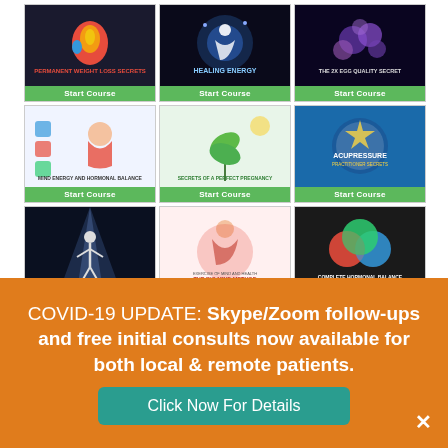[Figure (screenshot): 3x3 grid of online course thumbnails with green 'Start Course' buttons. Courses include: Permanent Weight Loss Secrets, Healing Energy, The 2X Egg Quality Secret, Mind Energy and Hormonal Balance, Secrets of a Perfect Pregnancy, Acupressure, Qigong for Self Healing, The Big Mind Method, Complete Hormonal Balance.]
COVID-19 UPDATE: Skype/Zoom follow-ups and free initial consults now available for both local & remote patients.
Click Now For Details